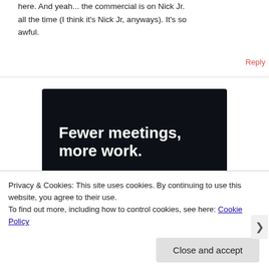here. And yeah... the commercial is on Nick Jr. all the time (I think it's Nick Jr, anyways). It's so awful.
Reply
[Figure (infographic): Dark navy advertisement banner with bold white text reading 'Fewer meetings, more work.' and a 'Get started for free' button with rounded border.]
Privacy & Cookies: This site uses cookies. By continuing to use this website, you agree to their use.
To find out more, including how to control cookies, see here: Cookie Policy
Close and accept